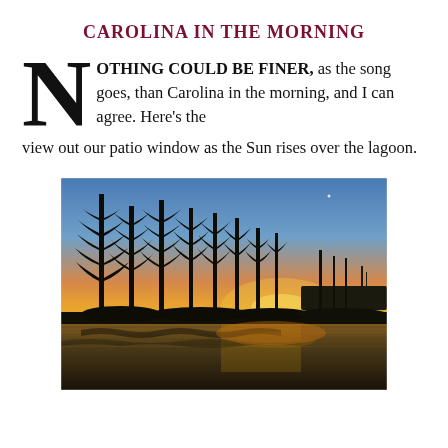CAROLINA IN THE MORNING
NOTHING COULD BE FINER, as the song goes, than Carolina in the morning, and I can agree. Here’s the view out our patio window as the Sun rises over the lagoon.
[Figure (photo): Sunrise over a lagoon with tall pine tree silhouettes against a gradient sky of blue, orange, and yellow, with water reflections in the foreground.]